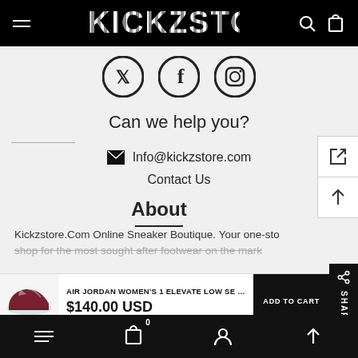KICKZSTORE
[Figure (illustration): Social media icons: Twitter, Facebook, Instagram]
Can we help you?
Info@kickzstore.com
Contact Us
About
Kickzstore.Com Online Sneaker Boutique. Your one-stop shop for the most sought after footwear on the market.
AIR JORDAN WOMEN'S 1 ELEVATE LOW SE BRED
$140.00 USD
Navigation bar with menu, cart (0), account, and scroll-up icons